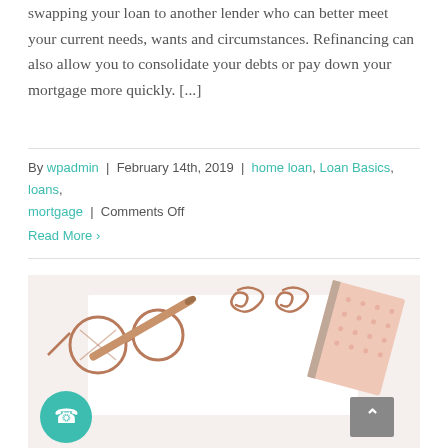swapping your loan to another lender who can better meet your current needs, wants and circumstances. Refinancing can also allow you to consolidate your debts or pay down your mortgage more quickly. [...]
By wpadmin | February 14th, 2019 | home loan, Loan Basics, loans, mortgage | Comments Off
Read More >
[Figure (photo): Flat lay photo showing rose gold glasses, paper clips, a pen, a polka-dot notebook on a white background, with a teal phone button and grey back-to-top arrow button overlaid.]